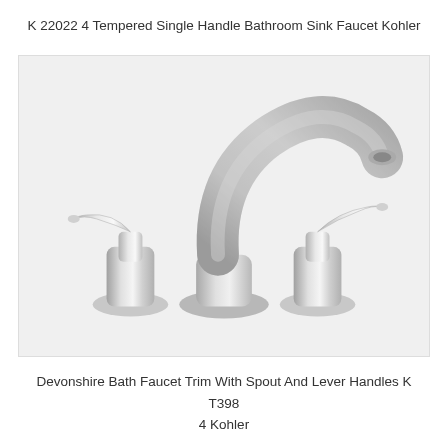K 22022 4 Tempered Single Handle Bathroom Sink Faucet Kohler
[Figure (photo): A chrome bathroom faucet set consisting of a tall arched spout in the center, a lever handle on the left side, and a lever handle on the right side, all in polished chrome finish, arranged on a light gray background. Kohler Devonshire style.]
Devonshire Bath Faucet Trim With Spout And Lever Handles K T398 4 Kohler